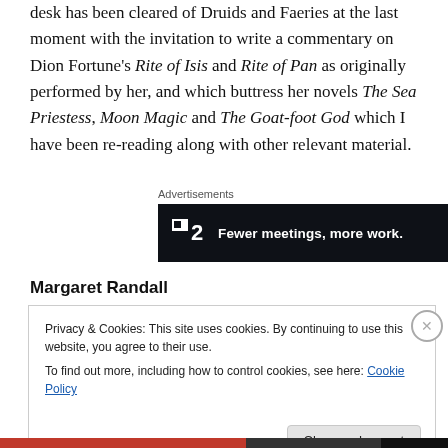desk has been cleared of Druids and Faeries at the last moment with the invitation to write a commentary on Dion Fortune's Rite of Isis and Rite of Pan as originally performed by her, and which buttress her novels The Sea Priestess, Moon Magic and The Goat-foot God which I have been re-reading along with other relevant material.
[Figure (other): Advertisement banner: Plan logo with text 'Fewer meetings, more work.' on dark background]
Margaret Randall
Privacy & Cookies: This site uses cookies. By continuing to use this website, you agree to their use. To find out more, including how to control cookies, see here: Cookie Policy